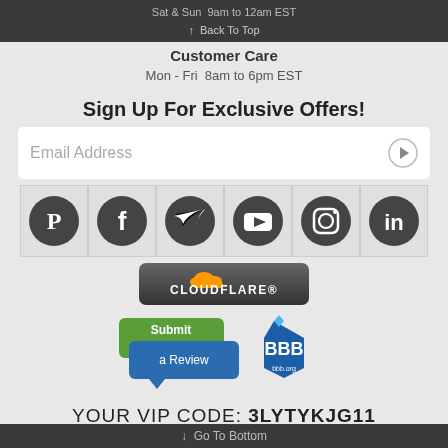Sat & Sun  9am to 12am EST
↑  Back To Top
Customer Care
Mon - Fri  8am to 6pm EST
Sign Up For Exclusive Offers!
Email Address
[Figure (infographic): Six social media icon circles: Pinterest, Facebook, Twitter, YouTube, Instagram, LinkedIn]
[Figure (logo): Cloudflare badge with cloud icon and CLOUDFLARE text]
[Figure (infographic): Submit a Review button and BBB (Better Business Bureau) logo with bbb.org text]
YOUR VIP CODE: 3LYTYKJG11
↓  Go To Bottom